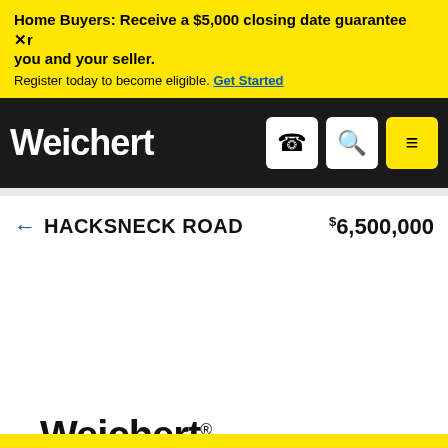Home Buyers: Receive a $5,000 closing date guarantee Xr you and your seller. Register today to become eligible. Get Started
[Figure (logo): Weichert logo in white on black navbar background, with phone, search, and menu icons]
← HACKSNECK ROAD   $6,500,000
[Figure (logo): Weichert logo in black, large, footer area]
Call us now at 1-800-401-0486